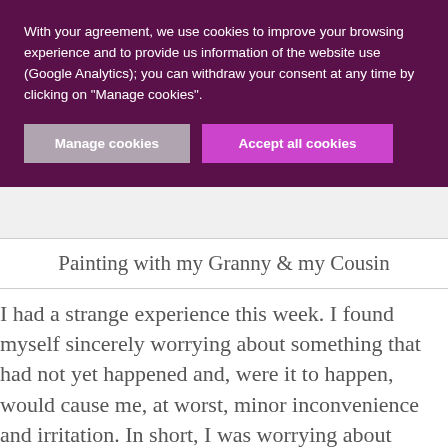With your agreement, we use cookies to improve your browsing experience and to provide us information of the website use (Google Analytics); you can withdraw your consent at any time by clicking on "Manage cookies".
Manage cookies | Accept all cookies
Painting with my Granny & my Cousin
I had a strange experience this week. I found myself sincerely worrying about something that had not yet happened and, were it to happen, would cause me, at worst, minor inconvenience and irritation. In short, I was worrying about something completely insignificant. It was only when the insignificance dawned on me, that the